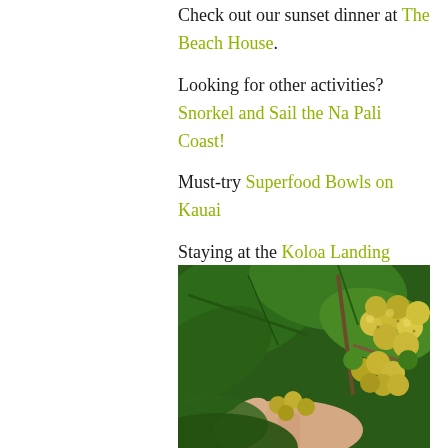Check out our sunset dinner at The Beach House.
Looking for other activities? Snorkel and Sail the Na Pali Coast!
Must-try Superfood Bowls on Kauai
Staying at the Koloa Landing Resort
Sharing is caring! Pin for later:
[Figure (photo): Close-up photo of a hand holding yellow-green coffee cherries on a branch with large green leaves in the background, taken at a coffee farm in Kauai.]